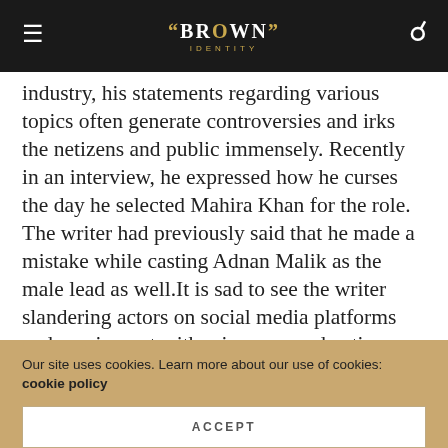The Brown Identity
industry, his statements regarding various topics often generate controversies and irks the netizens and public immensely. Recently in an interview, he expressed how he curses the day he selected Mahira Khan for the role. The writer had previously said that he made a mistake while casting Adnan Malik as the male lead as well.It is sad to see the writer slandering actors on social media platforms and coming out with misogyny and anti-feminist statement.
TAGS  PAKISTANI CELEBS  PAKISTANI DRAMAS
Our site uses cookies. Learn more about our use of cookies: cookie policy
ACCEPT